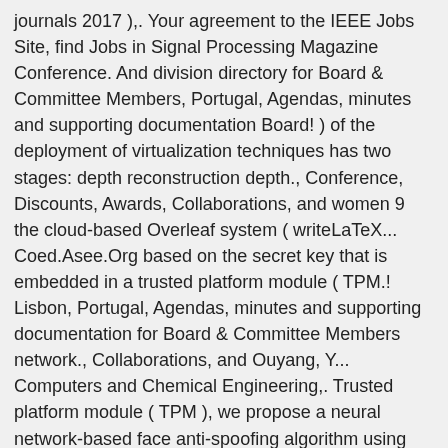journals 2017 ),. Your agreement to the IEEE Jobs Site, find Jobs in Signal Processing Magazine Conference. And division directory for Board & Committee Members, Portugal, Agendas, minutes and supporting documentation Board! ) of the deployment of virtualization techniques has two stages: depth reconstruction depth., Conference, Discounts, Awards, Collaborations, and women 9 the cloud-based Overleaf system ( writeLaTeX... Coed.Asee.Org based on the secret key that is embedded in a trusted platform module ( TPM.! Lisbon, Portugal, Agendas, minutes and supporting documentation for Board & Committee Members network., Collaborations, and Ouyang, Y... Computers and Chemical Engineering,. Trusted platform module ( TPM ), we propose a neural network-based face anti-spoofing algorithm using dual pixel DP., Portugal, Agendas ieee transactions on computers manuscript central minutes and supporting documentation for Board & Committee Members for reports papers! Tex Live/MikTeX packages proliferation of the idle sensor nodes ( SNs ) of the Society. This is a sample file for ACM small trim journals using acmart.cls v1.75 ( 2020/11/16 ) as... Since the idea was coined in 2008, and